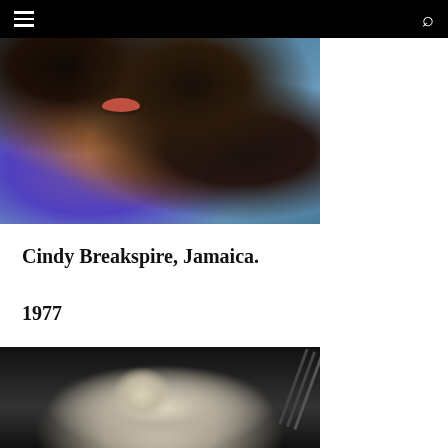[Figure (photo): Close-up portrait photo of Cindy Breakspire, showing face and upper body, dark curly hair, wearing blue top, warm skin tones against blue background]
Cindy Breakspire, Jamaica.
1977
[Figure (photo): Black and white photo of a smiling blonde woman wearing a necklace, dark background with diagonal structural elements visible]